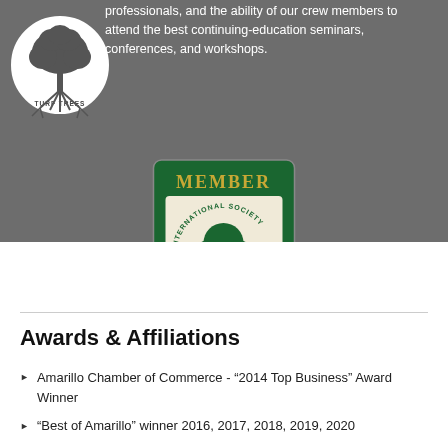professionals, and the ability of our crew members to attend the best continuing-education seminars, conferences, and workshops.
[Figure (logo): Turf Trees circular logo with tree illustration]
[Figure (logo): ISA Member - International Society of Arboriculture badge with green background and tree illustration]
Awards & Affiliations
Amarillo Chamber of Commerce - “2014 Top Business” Award Winner
“Best of Amarillo” winner 2016, 2017, 2018, 2019, 2020